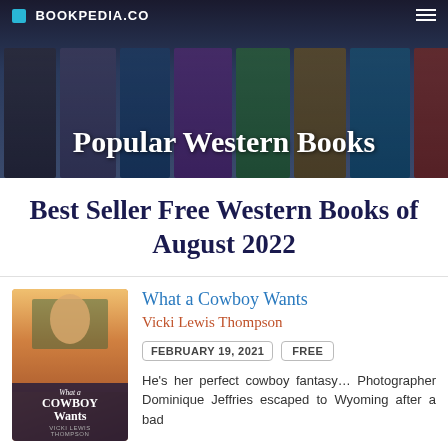BOOKPEDIA.CO — Popular Western Books
Best Seller Free Western Books of August 2022
[Figure (photo): Book cover for 'What a Cowboy Wants' by Vicki Lewis Thompson, showing a young man in a flannel shirt against an outdoor background]
What a Cowboy Wants
Vicki Lewis Thompson
FEBRUARY 19, 2021   FREE
He's her perfect cowboy fantasy… Photographer Dominique Jeffries escaped to Wyoming after a bad
[Figure (photo): Partially visible book cover for a second book listing at the bottom of the page]
Texas Cowboy's Protection